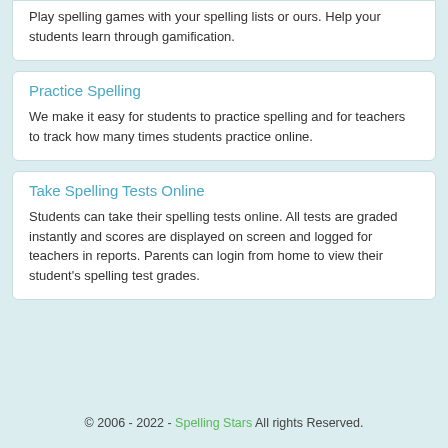Play spelling games with your spelling lists or ours. Help your students learn through gamification.
Practice Spelling
We make it easy for students to practice spelling and for teachers to track how many times students practice online.
Take Spelling Tests Online
Students can take their spelling tests online. All tests are graded instantly and scores are displayed on screen and logged for teachers in reports. Parents can login from home to view their student's spelling test grades.
© 2006 - 2022 - Spelling Stars All rights Reserved.